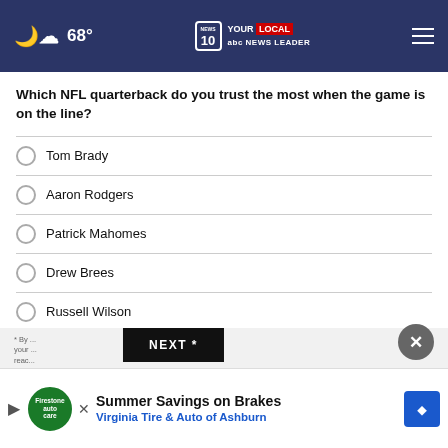68° | NEWS 10 YOUR LOCAL NEWS LEADER
Which NFL quarterback do you trust the most when the game is on the line?
Tom Brady
Aaron Rodgers
Patrick Mahomes
Drew Brees
Russell Wilson
Other
No opinion / Does not apply
NEXT *
* By ...
Summer Savings on Brakes Virginia Tire & Auto of Ashburn